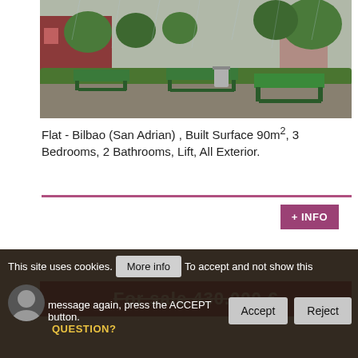[Figure (photo): Outdoor park scene with green benches in the foreground, hedges, and red brick buildings in the background on a rainy day.]
Flat - Bilbao (San Adrian) , Built Surface 90m², 3 Bedrooms, 2 Bathrooms, Lift, All Exterior.
+ INFO
For sale 430.000 €
This site uses cookies. More info To accept and not show this message again, press the ACCEPT button.
QUESTION?
Accept
Reject